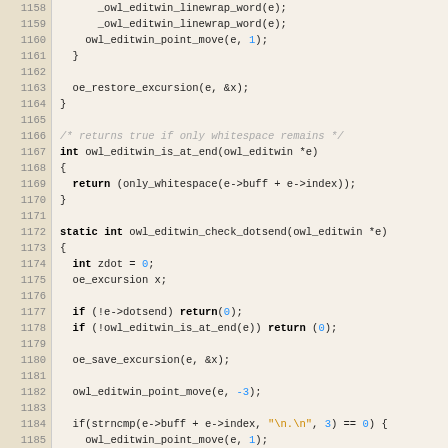[Figure (screenshot): Source code listing lines 1158-1189 showing C code for owl_editwin functions including owl_editwin_is_at_end and owl_editwin_check_dotsend]